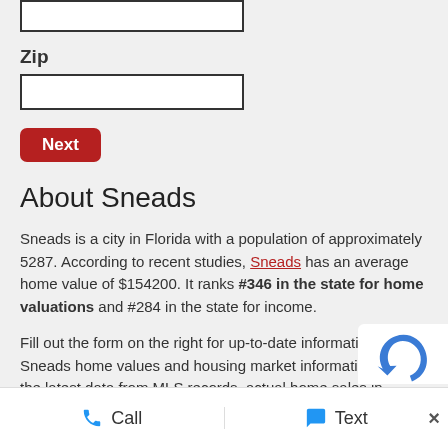[Figure (screenshot): Top portion of a form input box (partially visible at top of page), white rectangle with black border]
Zip
[Figure (screenshot): Empty form input field for Zip code, white rectangle with black border]
Next
About Sneads
Sneads is a city in Florida with a population of approximately 5287. According to recent studies, Sneads has an average home value of $154200. It ranks #346 in the state for home valuations and #284 in the state for income.
Fill out the form on the right for up-to-date information on Sneads home values and housing market information using the latest data from MLS records, actual home sales in Sneads and information about your own neighborhood, schools, and the condition of your home.
[Figure (logo): reCAPTCHA logo partially visible in bottom right corner]
Call   Text   ×